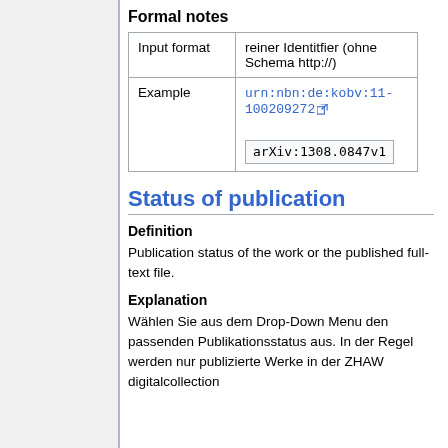Formal notes
|  |  |
| --- | --- |
| Input format | reiner Identitfier (ohne Schema http://) |
| Example | urn:nbn:de:kobv:11-100209272 [link]
arXiv:1308.0847v1 |
Status of publication
Definition
Publication status of the work or the published full-text file.
Explanation
Wählen Sie aus dem Drop-Down Menu den passenden Publikationsstatus aus. In der Regel werden nur publizierte Werke in der ZHAW digitalcollection